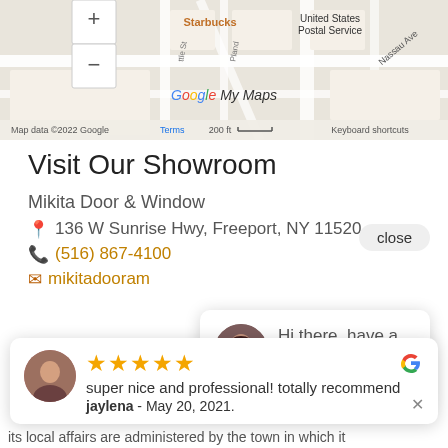[Figure (map): Partial Google Maps screenshot showing streets near Freeport NY with Starbucks, United States Postal Service, Nassau Ave labels and map attribution 'Map data ©2022 Google  Terms  200 ft  Keyboard shortcuts']
Visit Our Showroom
Mikita Door & Window
136 W Sunrise Hwy, Freeport, NY 11520
(516) 867-4100
mikitadooram
[Figure (screenshot): Chat popup with avatar of a woman and text: Hi there, have a question? Message us here!]
Manhasset
Manhasset is a...
[Figure (screenshot): Google review card: 5 stars, 'super nice and professional! totally recommend', jaylena - May 20, 2021. With Google G logo and × close button.]
its local affairs are administered by the town in which it